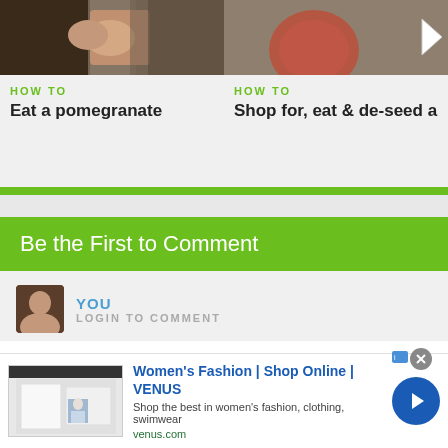[Figure (screenshot): Thumbnail image of hands holding a pomegranate]
HOW TO
Eat a pomegranate
[Figure (screenshot): Thumbnail image of pomegranate on right side, partially visible with navigation arrow]
HOW TO
Shop for, eat & de-seed a
Be the First to Comment
YOU
LOGIN TO COMMENT
Click to share your thoughts
[Figure (screenshot): Advertisement thumbnail showing Venus clothing website]
Women's Fashion | Shop Online | VENUS
Shop the best in women's fashion, clothing, swimwear
venus.com